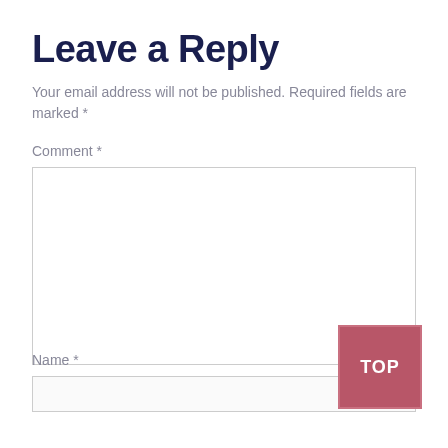Leave a Reply
Your email address will not be published. Required fields are marked *
Comment *
[Figure (screenshot): A large empty comment text area input box with a resize handle in the bottom right corner, and a red 'TOP' button overlapping the bottom-right of the textarea.]
Name *
[Figure (screenshot): An empty single-line name input field.]